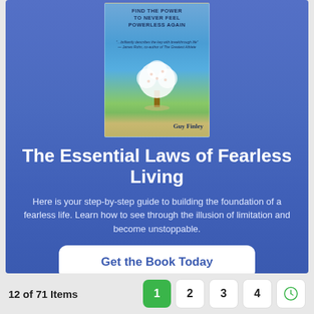[Figure (illustration): Book cover for 'The Essential Laws of Fearless Living' by Guy Finley. Shows a blossoming white tree on a green field with a path under a blue sky. Text at top reads FIND THE POWER TO NEVER FEEL POWERLESS AGAIN.]
The Essential Laws of Fearless Living
Here is your step-by-step guide to building the foundation of a fearless life. Learn how to see through the illusion of limitation and become unstoppable.
Get the Book Today
12 of 71 Items
1  2  3  4